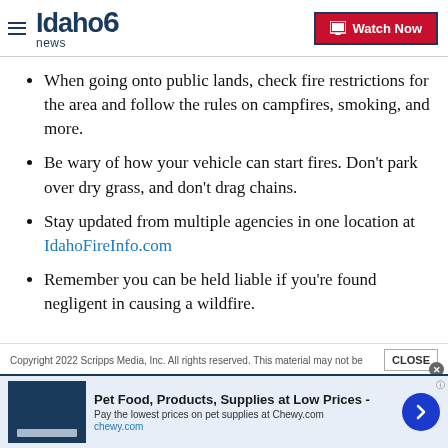Idaho News 6 — Watch Now
When going onto public lands, check fire restrictions for the area and follow the rules on campfires, smoking, and more.
Be wary of how your vehicle can start fires. Don't park over dry grass, and don't drag chains.
Stay updated from multiple agencies in one location at IdahoFireInfo.com
Remember you can be held liable if you're found negligent in causing a wildfire.
Copyright 2022 Scripps Media, Inc. All rights reserved. This material may not be
Pet Food, Products, Supplies at Low Prices - Pay the lowest prices on pet supplies at Chewy.com | chewy.com